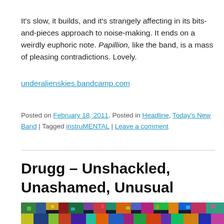It's slow, it builds, and it's strangely affecting in its bits-and-pieces approach to noise-making. It ends on a weirdly euphoric note. Papillion, like the band, is a mass of pleasing contradictions. Lovely.
underalienskies.bandcamp.com
Posted on February 18, 2011. Posted in Headline, Today's New Band | Tagged instruMENTAL | Leave a comment
Drugg – Unshackled, Unashamed, Unusual
[Figure (photo): Colorful pixelated/mosaic style image, partially visible at bottom of page]